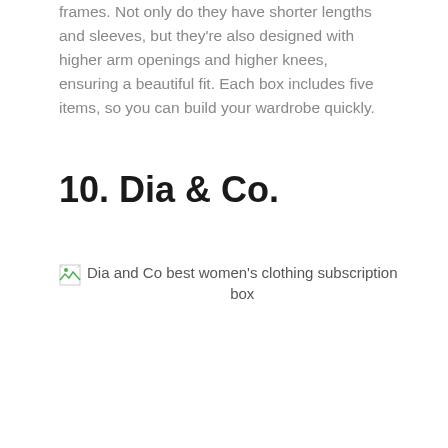frames. Not only do they have shorter lengths and sleeves, but they're also designed with higher arm openings and higher knees, ensuring a beautiful fit. Each box includes five items, so you can build your wardrobe quickly.
10. Dia & Co.
[Figure (photo): Broken image placeholder for 'Dia and Co best women's clothing subscription box']